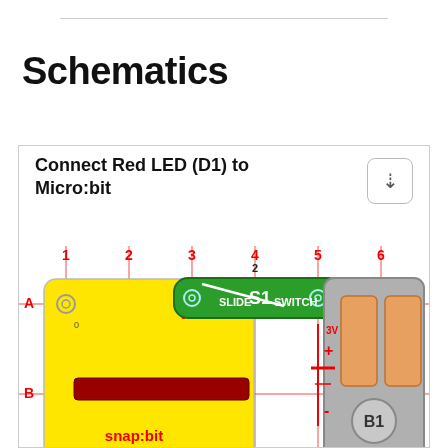Schematics
Connect Red LED (D1) to Micro:bit
[Figure (schematic): Electronic schematic showing a snap:bit board (yellow, with micro:bit connector), a slide switch S1 (green, labeled SLIDE SWITCH), a battery holder B1 (gray, with + and - terminals at 3V), and a red LED D1 with blue wiring. Grid coordinates A-C (rows) and 1-6 (columns) are marked in red. Components are connected with red and blue wires. Labels include: 0 at A1, 3V at A3 and B5, GND and 3 at C3, numbers 1-3 at rows, 1-6 at columns, snap:bit text in red on yellow board, B1 label on battery holder, S1 on slide switch, D1 on red LED, + and - on battery symbol.]